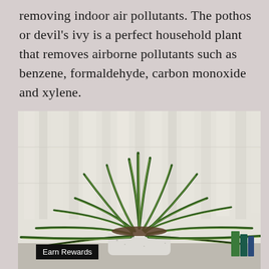removing indoor air pollutants. The pothos or devil's ivy is a perfect household plant that removes airborne pollutants such as benzene, formaldehyde, carbon monoxide and xylene.
[Figure (photo): A green spider plant with long variegated leaves in a white speckled pot, placed near a window with sheer white curtains and soft natural light in the background.]
Earn Rewards